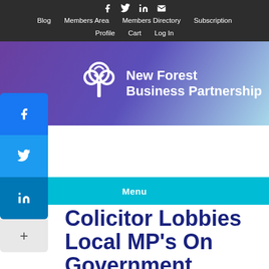Blog | Members Area | Members Directory | Subscription | Profile | Cart | Log In
[Figure (logo): New Forest Business Partnership logo with cloud/tree icon and white text on purple-blue gradient background]
Menu
Solicitor Lobbies Local MP's On Government Whiplash Reforms